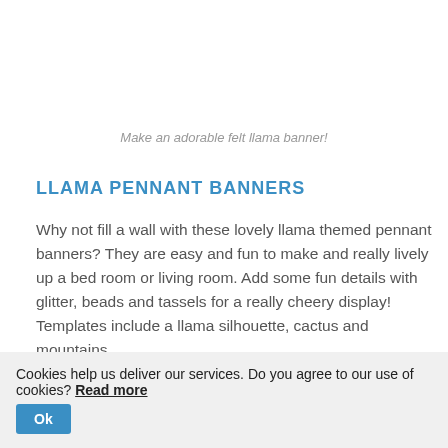Make an adorable felt llama banner!
LLAMA PENNANT BANNERS
Why not fill a wall with these lovely llama themed pennant banners? They are easy and fun to make and really lively up a bed room or living room. Add some fun details with glitter, beads and tassels for a really cheery display! Templates include a llama silhouette, cactus and mountains.
NEEDLE FELTED LLAMAS
Cookies help us deliver our services. Do you agree to our use of cookies? Read more Ok